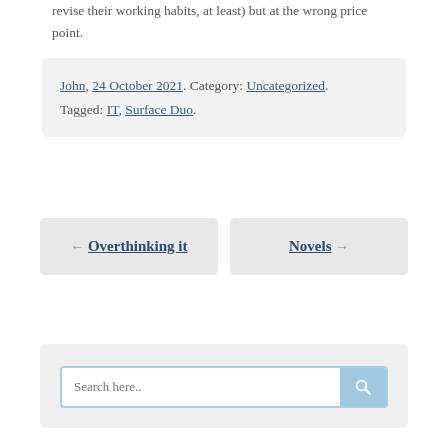revise their working habits, at least) but at the wrong price point.
John, 24 October 2021. Category: Uncategorized. Tagged: IT, Surface Duo.
← Overthinking it
Novels →
Search here..